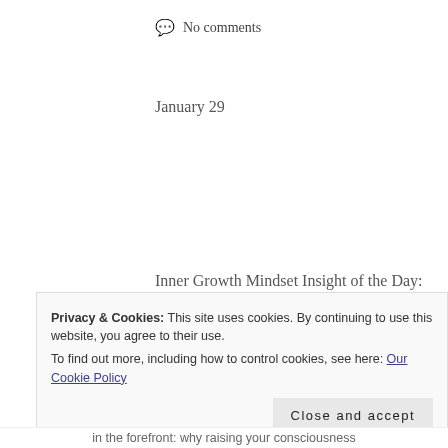No comments
January 29
Inner Growth Mindset Insight of the Day:
Following Your Heart Doesn’t Mean Knowing It All
Privacy & Cookies: This site uses cookies. By continuing to use this website, you agree to their use.
To find out more, including how to control cookies, see here: Our Cookie Policy
Close and accept
in the forefront: why raising your consciousness